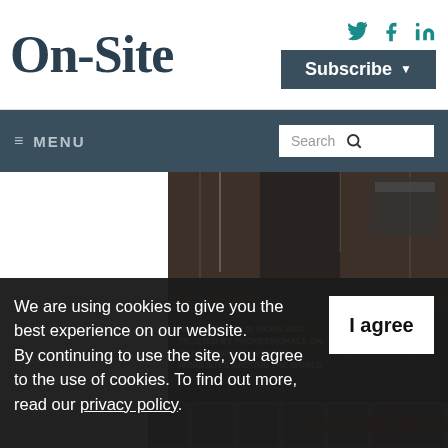On-Site
[Figure (logo): On-Site magazine logo in dark blue serif font]
[Figure (screenshot): Social media icons: Twitter, Facebook, LinkedIn in teal]
[Figure (screenshot): Subscribe button with dropdown arrow in dark slate blue]
[Figure (screenshot): Navigation bar with MENU hamburger on left and Search box on right]
[Figure (photo): Helly Hansen advertisement: construction worker on site with text 'HELLY HANSEN IS WORN AND TRUSTED BY PROFESSIONALS ON OCEANS, MOUNTAINS AND WORKSITES AROUND THE WORLD' and 'TRUSTED BY PROFESSIONALS']
[Figure (photo): Partial view of industrial/construction equipment with red element, gray background]
We are using cookies to give you the best experience on our website. By continuing to use the site, you agree to the use of cookies. To find out more, read our privacy policy.